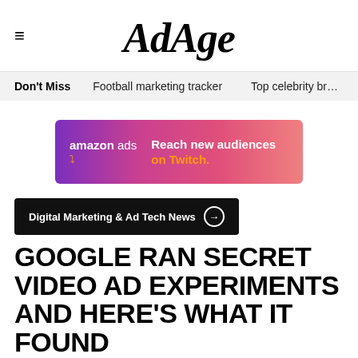AdAge
Don't Miss   Football marketing tracker   Top celebrity br...
[Figure (other): Amazon Ads banner advertisement: 'Reach new audiences on Twitch.' with gradient purple-to-pink background]
Digital Marketing & Ad Tech News →
GOOGLE RAN SECRET VIDEO AD EXPERIMENTS AND HERE'S WHAT IT FOUND